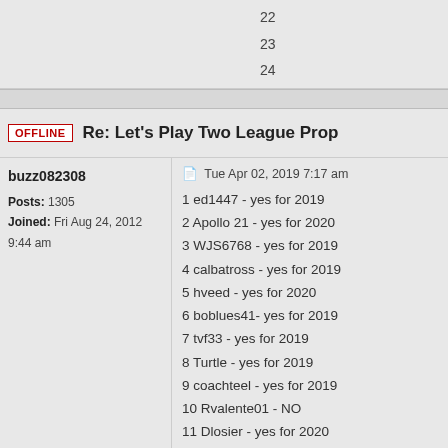22
23
24
OFFLINE
Re: Let's Play Two League Prop
buzz082308
Posts: 1305
Joined: Fri Aug 24, 2012 9:44 am
Tue Apr 02, 2019 7:17 am
1 ed1447 - yes for 2019
2 Apollo 21 - yes for 2020
3 WJS6768 - yes for 2019
4 calbatross - yes for 2019
5 hveed - yes for 2020
6 boblues41- yes for 2019
7 tvf33 - yes for 2019
8 Turtle - yes for 2019
9 coachteel - yes for 2019
10 Rvalente01 - NO
11 Dlosier - yes for 2020
12 travelingjack - yes for 2020
13Joker- Yes 2019
14 Buzz - Yes 2019
15
16
17